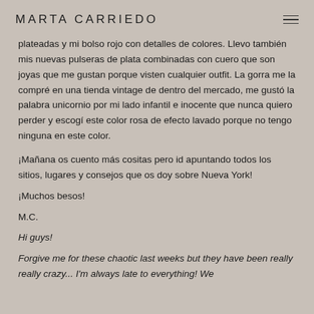MARTA CARRIEDO
plateadas y mi bolso rojo con detalles de colores. Llevo también mis nuevas pulseras de plata combinadas con cuero que son joyas que me gustan porque visten cualquier outfit. La gorra me la compré en una tienda vintage de dentro del mercado, me gustó la palabra unicornio por mi lado infantil e inocente que nunca quiero perder y escogí este color rosa de efecto lavado porque no tengo ninguna en este color.
¡Mañana os cuento más cositas pero id apuntando todos los sitios, lugares y consejos que os doy sobre Nueva York!
¡Muchos besos!
M.C.
Hi guys!
Forgive me for these chaotic last weeks but they have been really really crazy... I'm always late to everything! We